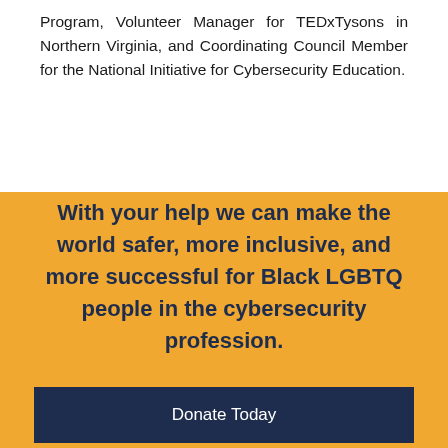Program, Volunteer Manager for TEDxTysons in Northern Virginia, and Coordinating Council Member for the National Initiative for Cybersecurity Education.
With your help we can make the world safer, more inclusive, and more successful for Black LGBTQ people in the cybersecurity profession.
Donate Today